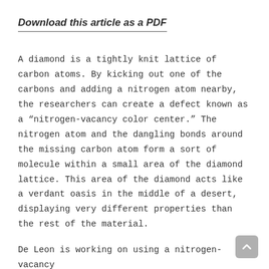Download this article as a PDF
A diamond is a tightly knit lattice of carbon atoms. By kicking out one of the carbons and adding a nitrogen atom nearby, the researchers can create a defect known as a “nitrogen-vacancy color center.” The nitrogen atom and the dangling bonds around the missing carbon atom form a sort of molecule within a small area of the diamond lattice. This area of the diamond acts like a verdant oasis in the middle of a desert, displaying very different properties than the rest of the material.
De Leon is working on using a nitrogen-vacancy